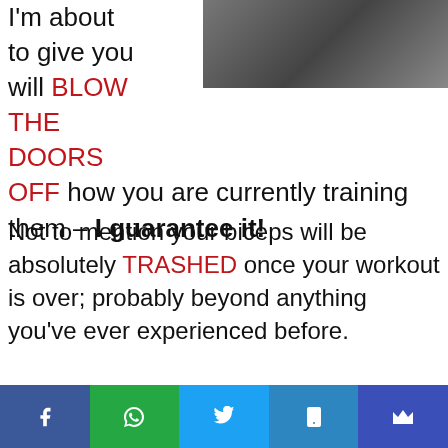[Figure (photo): Cropped photo of a person in a dark jacket and white shirt, upper body visible against a light background]
I'm about to give you will BLOW THE DOORS OFF how you are currently training them – I guarantee it!
Not to mention your biceps will be absolutely TRASHED once your workout is over; probably beyond anything you've ever experienced before.
[Figure (infographic): Social media share bar with Facebook, WhatsApp, Twitter, SMS, and email/crown buttons]